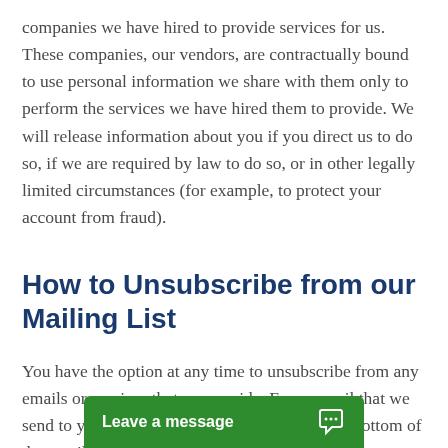companies we have hired to provide services for us. These companies, our vendors, are contractually bound to use personal information we share with them only to perform the services we have hired them to provide. We will release information about you if you direct us to do so, if we are required by law to do so, or in other legally limited circumstances (for example, to protect your account from fraud).
How to Unsubscribe from our Mailing List
You have the option at any time to unsubscribe from any emails or services that we provide. Every email that we send to you includes an unsubscribe link at the bottom of the email. Simply click on the unsubscribe link to be removed fr...